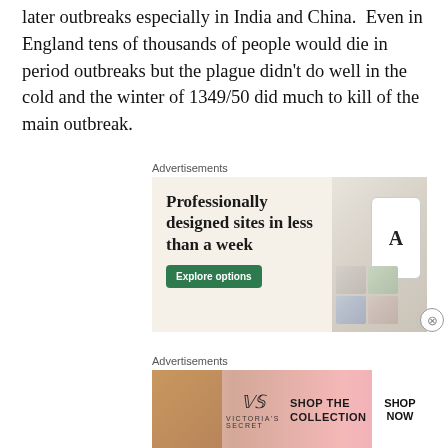later outbreaks especially in India and China.  Even in England tens of thousands of people would die in period outbreaks but the plague didn't do well in the cold and the winter of 1349/50 did much to kill of the main outbreak.
[Figure (screenshot): Advertisement for a website builder service: 'Professionally designed sites in less than a week' with an 'Explore options' button on a beige background, showing website mockups on the right side.]
[Figure (screenshot): Advertisement for Victoria's Secret: shows a woman's face on the left, VS logo in the center, 'SHOP THE COLLECTION' text, and 'SHOP NOW' button on white background on the right.]